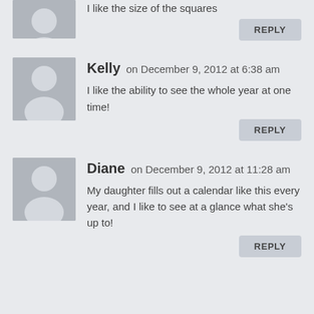[Figure (illustration): Gray avatar silhouette icon (partial, top of page)]
I like the size of the squares
REPLY
[Figure (illustration): Gray avatar silhouette icon for Kelly]
Kelly on December 9, 2012 at 6:38 am
I like the ability to see the whole year at one time!
REPLY
[Figure (illustration): Gray avatar silhouette icon for Diane]
Diane on December 9, 2012 at 11:28 am
My daughter fills out a calendar like this every year, and I like to see at a glance what she's up to!
REPLY